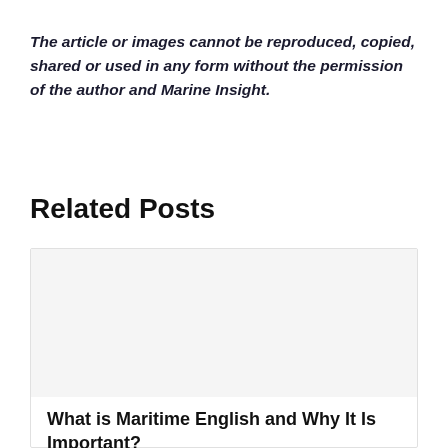The article or images cannot be reproduced, copied, shared or used in any form without the permission of the author and Marine Insight.
Related Posts
[Figure (other): Blank image placeholder for a related post card]
What is Maritime English and Why It Is Important?